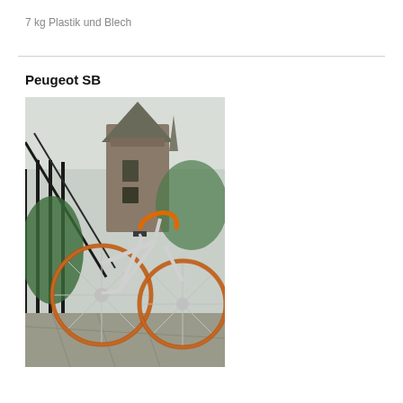7 kg Plastik und Blech
Peugeot SB
[Figure (photo): A silver road bicycle with orange handlebars and orange tires leaning against an iron fence in front of a stone tower/turret with a pointed roof.]